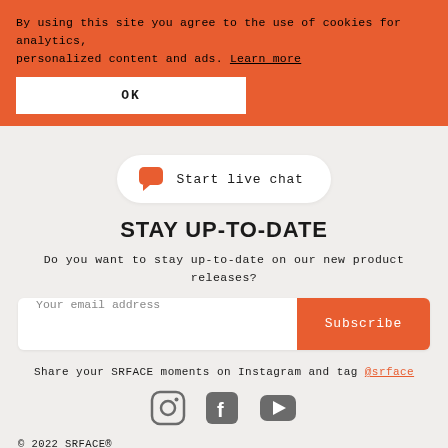By using this site you agree to the use of cookies for analytics, personalized content and ads. Learn more
OK
Start live chat
STAY UP-TO-DATE
Do you want to stay up-to-date on our new product releases?
Your email address
Subscribe
Share your SRFACE moments on Instagram and tag @srface
[Figure (illustration): Three social media icons: Instagram, Facebook, YouTube in gray]
© 2022 SRFACE®